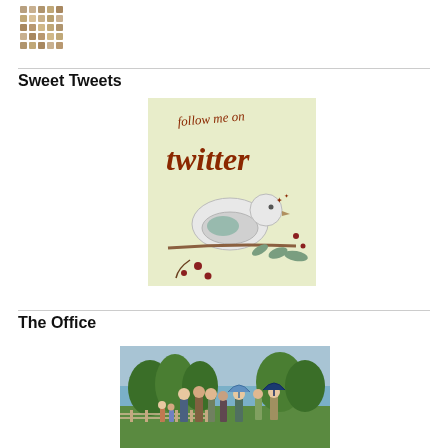[Figure (logo): Small pixelated/mosaic style logo in brown/tan tones at top left]
Sweet Tweets
[Figure (illustration): Illustrated image of a white bird on a branch with text 'follow me on twitter' in decorative handwritten font on a light green background]
The Office
[Figure (photo): Photo of a group of people standing outdoors in a field with trees, some holding umbrellas]